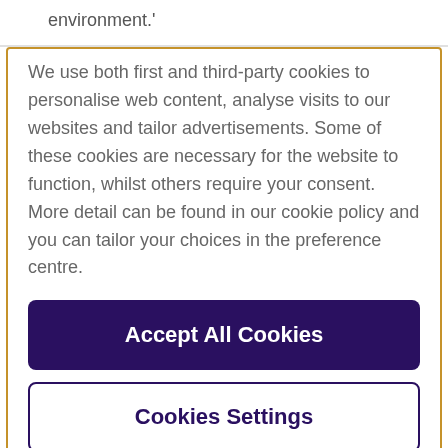environment.'
We use both first and third-party cookies to personalise web content, analyse visits to our websites and tailor advertisements. Some of these cookies are necessary for the website to function, whilst others require your consent. More detail can be found in our cookie policy and you can tailor your choices in the preference centre.
Accept All Cookies
Cookies Settings